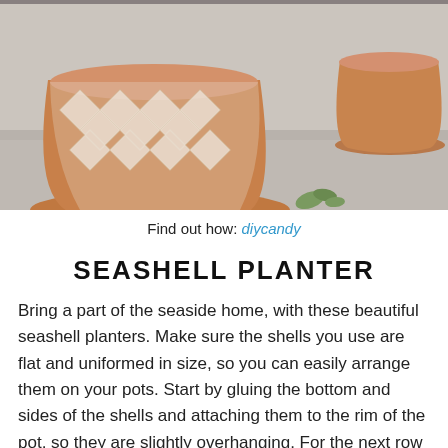[Figure (photo): Two decorative terracotta planters on a concrete surface outdoors. The left pot features a white geometric Moroccan lattice pattern painted over the terracotta. The right pot is plain terracotta. Small green plants are visible in the background.]
Find out how: diycandy
SEASHELL PLANTER
Bring a part of the seaside home, with these beautiful seashell planters. Make sure the shells you use are flat and uniformed in size, so you can easily arrange them on your pots. Start by gluing the bottom and sides of the shells and attaching them to the rim of the pot, so they are slightly overhanging. For the next row of shells, continue to glue them in the same way. Attach them in between the shells above so there are no gaps. Repeat